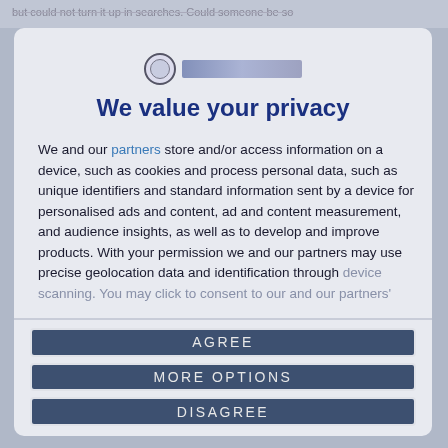but could not turn it up in searches. Could someone be so
[Figure (logo): Website logo: circular emblem with globe icon and organization name text bar]
We value your privacy
We and our partners store and/or access information on a device, such as cookies and process personal data, such as unique identifiers and standard information sent by a device for personalised ads and content, ad and content measurement, and audience insights, as well as to develop and improve products. With your permission we and our partners may use precise geolocation data and identification through device scanning. You may click to consent to our and our partners'
AGREE
MORE OPTIONS
DISAGREE